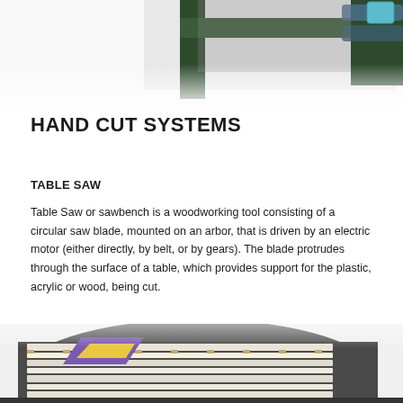[Figure (photo): Partial view of a green industrial cutting machine photographed from above/side angle, showing mechanical components and rollers, on white background. Image is cropped at top.]
HAND CUT SYSTEMS
TABLE SAW
Table Saw or sawbench is a woodworking tool consisting of a circular saw blade, mounted on an arbor, that is driven by an electric motor (either directly, by belt, or by gears). The blade protrudes through the surface of a table, which provides support for the plastic, acrylic or wood, being cut.
[Figure (photo): A table saw or cutting machine photographed from the front/above showing a wide flat surface with white and tan material strips arranged across it, and a triangular purple/yellow dispenser or guide on the left side. Image cropped at bottom. A green circular WhatsApp button is overlaid on the right side.]